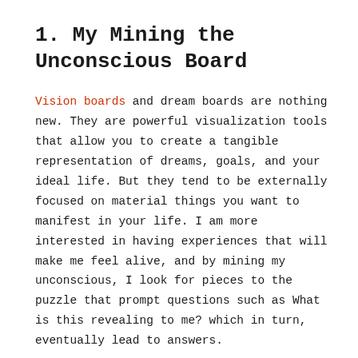1. My Mining the Unconscious Board
Vision boards and dream boards are nothing new. They are powerful visualization tools that allow you to create a tangible representation of dreams, goals, and your ideal life. But they tend to be externally focused on material things you want to manifest in your life. I am more interested in having experiences that will make me feel alive, and by mining my unconscious, I look for pieces to the puzzle that prompt questions such as What is this revealing to me? which in turn, eventually lead to answers.